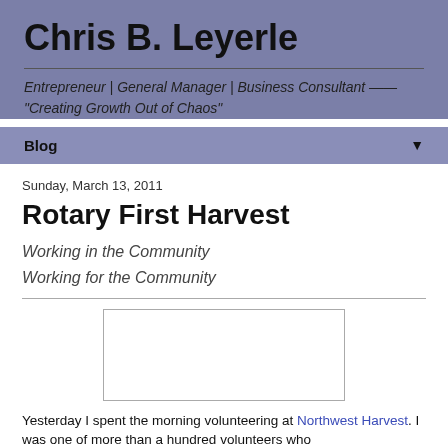Chris B. Leyerle
Entrepreneur | General Manager | Business Consultant —— "Creating Growth Out of Chaos"
Blog
Sunday, March 13, 2011
Rotary First Harvest
Working in the Community
Working for the Community
[Figure (photo): Placeholder image box]
Yesterday I spent the morning volunteering at Northwest Harvest. I was one of more than a hundred volunteers who